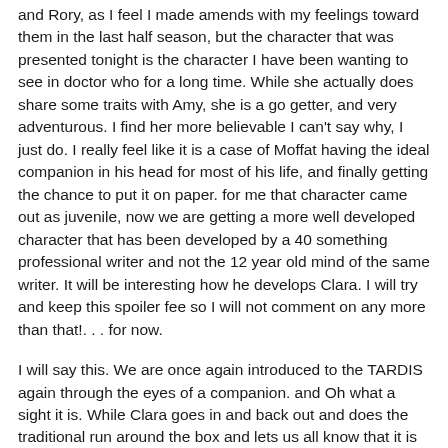and Rory, as I feel I made amends with my feelings toward them in the last half season, but the character that was presented tonight is the character I have been wanting to see in doctor who for a long time.  While she actually does share some traits with Amy, she is a go getter, and very adventurous.  I find her more believable  I can't say why, I just do.  I really feel like it is a case of Moffat having the ideal companion in his head for most of his life, and finally getting the chance to put it on paper.  for me that character came out as juvenile, now we are getting a more well developed character that has been developed by a 40 something professional writer and not the 12 year old mind of the same writer.  It will be interesting how he develops Clara.  I will try and keep this spoiler fee so I will not comment on any more than that!. . . for now.
I will say this.  We are once again introduced to the TARDIS again through the eyes of a companion.  and Oh what a sight it is.  While Clara goes in and back out and does the traditional run around the box and lets us all know that it is indeed "Smaller on the outside" (see what Moffat did there?)  . We are introduced to a shiny new TARDIS console that is